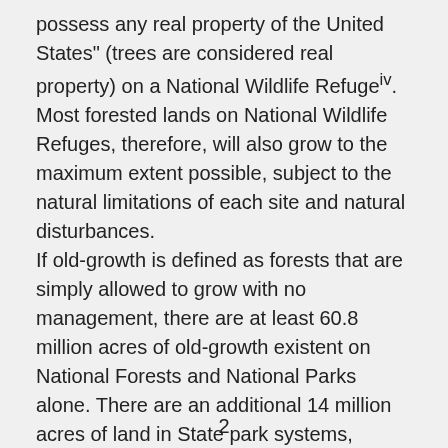possess any real property of the United States" (trees are considered real property) on a National Wildlife Refugeiv. Most forested lands on National Wildlife Refuges, therefore, will also grow to the maximum extent possible, subject to the natural limitations of each site and natural disturbances. If old-growth is defined as forests that are simply allowed to grow with no management, there are at least 60.8 million acres of old-growth existent on National Forests and National Parks alone. There are an additional 14 million acres of land in State park systems, where, generally speaking, timber management is either prohibited or discouragedv. If even half these State park areas are forested, that's an additional 7 million acres that will not be
2